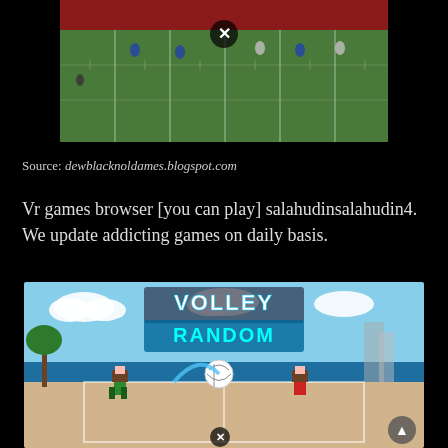[Figure (screenshot): American football game screenshot showing players on a green field with yard lines, a close button (X in circle) overlay visible]
Source: dewblacknoldames.blogspot.com
Vr games browser [you can play] salahudinsalahudin4. We update addicting games on daily basis.
[Figure (screenshot): Volley Random mobile game screenshot showing pixel-art volleyball players on a beach court with 'VOLLEY RANDOM' title text]